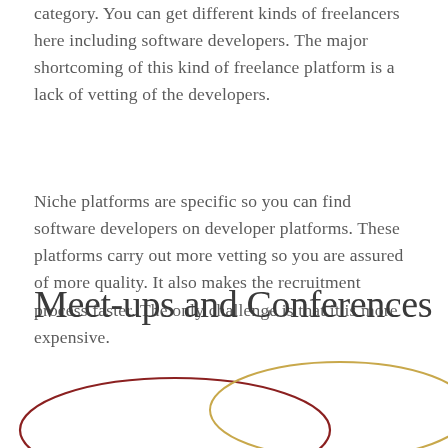category. You can get different kinds of freelancers here including software developers. The major shortcoming of this kind of freelance platform is a lack of vetting of the developers.
Niche platforms are specific so you can find software developers on developer platforms. These platforms carry out more vetting so you are assured of more quality. It also makes the recruitment process faster. The only challenge is that it is more expensive.
Meet-ups and Conferences
[Figure (illustration): Overlapping oval/ellipse shapes — one dark red/maroon ellipse on the left and one gold/yellow ellipse on the right, partially overlapping, suggesting a Venn diagram or decorative illustration at the bottom of the page.]